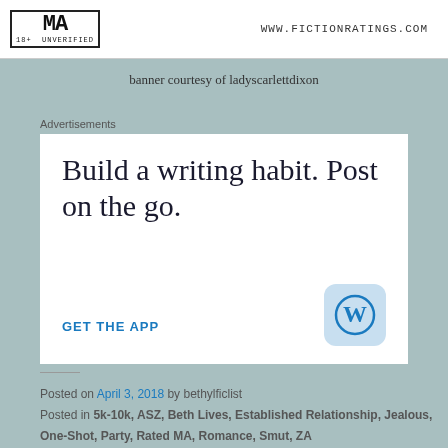MA 18+ UNVERIFIED    WWW.FICTIONRATINGS.COM
banner courtesy of ladyscarlettdixon
Advertisements
[Figure (other): WordPress advertisement: 'Build a writing habit. Post on the go. GET THE APP' with WordPress logo icon]
Posted on April 3, 2018 by bethylficlist
Posted in 5k-10k, ASZ, Beth Lives, Established Relationship, Jealous, One-Shot, Party, Rated MA, Romance, Smut, ZA